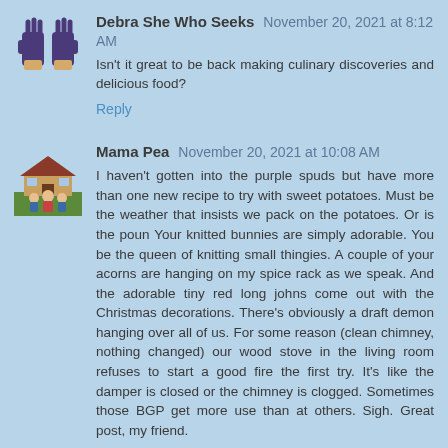Debra She Who Seeks November 20, 2021 at 8:12 AM
Isn't it great to be back making culinary discoveries and delicious food?
Reply
Mama Pea November 20, 2021 at 10:08 AM
I haven't gotten into the purple spuds but have more than one new recipe to try with sweet potatoes. Must be the weather that insists we pack on the potatoes. Or is the poun Your knitted bunnies are simply adorable. You be the queen of knitting small thingies. A couple of your acorns are hanging on my spice rack as we speak. And the adorable tiny red long johns come out with the Christmas decorations. There's obviously a draft demon hanging over all of us. For some reason (clean chimney, nothing changed) our wood stove in the living room refuses to start a good fire the first try. It's like the damper is closed or the chimney is clogged. Sometimes those BGP get more use than at others. Sigh. Great post, my friend.